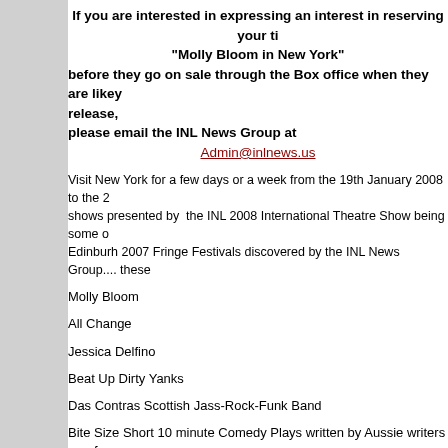If you are interested in expressing an interest in reserving your tickets for
"Molly Bloom in New York"
before they go on sale through the Box office when they are likely to be on general release,
please email the INL News Group at
Admin@inlnews.us
Visit New York for a few days or a week from the 19th January 2008 to the 2... shows presented by the INL 2008 International Theatre Show being some of the shows from the Edinburgh 2007 Fringe Festivals discovered by the INL News Group.... these
Molly Bloom
All Change
Jessica Delfino
Beat Up Dirty Yanks
Das Contras Scottish Jass-Rock-Funk Band
Bite Size Short 10 minute Comedy Plays written by Aussie writers perofomed...
A Day In Dig Day Nation
written and performed by the Flying Carpet Theatre Group from New York
This Is New York City
Experience all the sounds, sights and shows of NYC.
www.nycvisit.com
What's New
Deals & Promotions